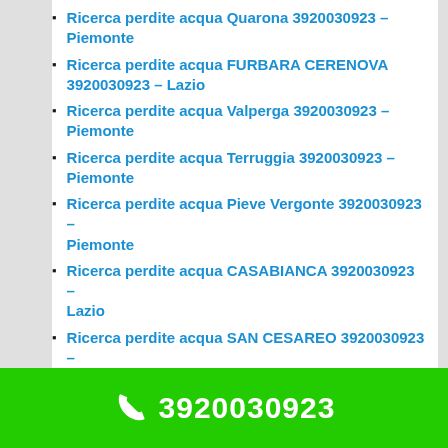Ricerca perdite acqua Quarona 3920030923 – Piemonte
Ricerca perdite acqua FURBARA CERENOVA 3920030923 – Lazio
Ricerca perdite acqua Valperga 3920030923 – Piemonte
Ricerca perdite acqua Terruggia 3920030923 – Piemonte
Ricerca perdite acqua Pieve Vergonte 3920030923 – Piemonte
Ricerca perdite acqua CASABIANCA 3920030923 – Lazio
Ricerca perdite acqua SAN CESAREO 3920030923 – Lazio
Ricerca perdite acqua Pino d'Asti 3920030923 – Piemonte
Ricerca perdite acqua POGGIO MIRTETO 3920030923 – Lazio
Ricerca perdite acqua BARBARANO ROMANO
3920030923